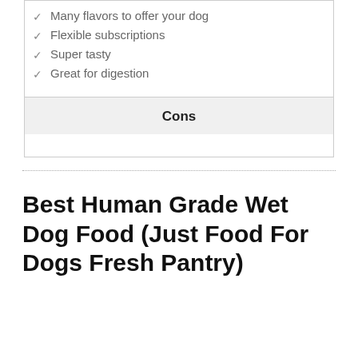Many flavors to offer your dog
Flexible subscriptions
Super tasty
Great for digestion
Cons
Best Human Grade Wet Dog Food (Just Food For Dogs Fresh Pantry)